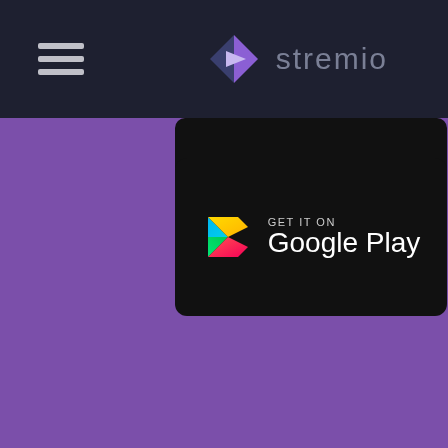[Figure (logo): Stremio app logo with diamond/play button icon and 'stremio' text in grey on dark navy background, with hamburger menu icon on the left]
[Figure (screenshot): Google Play Store download badge - black rounded rectangle with Google Play triangle logo and text 'GET IT ON Google Play' on purple background]
This website uses cookies to ensure you get the best experience on our website.
Learn more
FAQ
Got it!